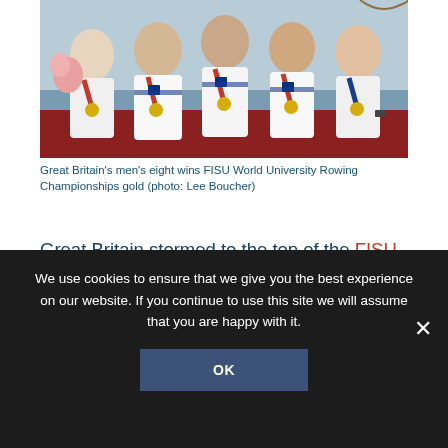[Figure (photo): Group photo of Great Britain men's eight rowing team wearing white uniforms with blue and red stripes and gold medals, standing together with bouquet of flowers visible]
Great Britain's men's eight wins FISU World University Rowing Championships gold (photo: Lee Boucher)
Great Britain stormed to the top of the FISU World University Rowing Championships medal table, winning an incredible six golds and a silver in Shanghai.
Both the men's and women's fours and eights struck gold, along with the men's pair and men's
We use cookies to ensure that we give you the best experience on our website. If you continue to use this site we will assume that you are happy with it.